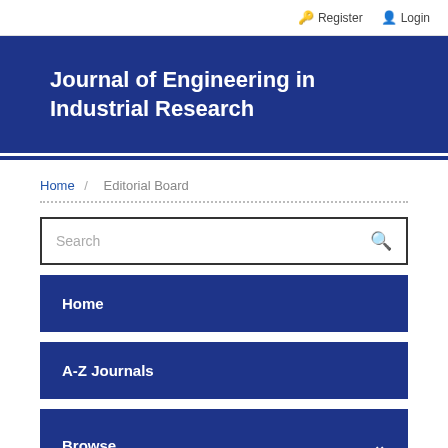Register   Login
Journal of Engineering in Industrial Research
Home / Editorial Board
Search
Home
A-Z Journals
Browse